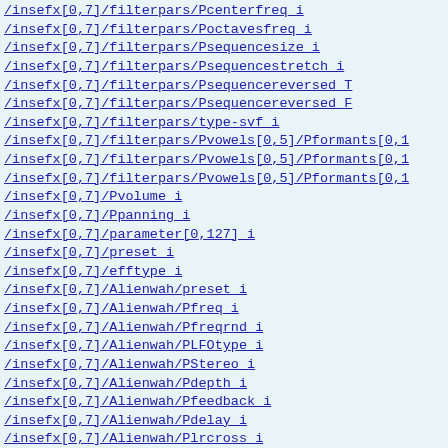/insefx[0,7]/filterpars/Pcenterfreq_i
/insefx[0,7]/filterpars/Poctavesfreq_i
/insefx[0,7]/filterpars/Psequencesize_i
/insefx[0,7]/filterpars/Psequencestretch_i
/insefx[0,7]/filterpars/Psequencereversed_T
/insefx[0,7]/filterpars/Psequencereversed_F
/insefx[0,7]/filterpars/type-svf_i
/insefx[0,7]/filterpars/Pvowels[0,5]/Pformants[0,1
/insefx[0,7]/filterpars/Pvowels[0,5]/Pformants[0,1
/insefx[0,7]/filterpars/Pvowels[0,5]/Pformants[0,1
/insefx[0,7]/Pvolume_i
/insefx[0,7]/Ppanning_i
/insefx[0,7]/parameter[0,127]_i
/insefx[0,7]/preset_i
/insefx[0,7]/efftype_i
/insefx[0,7]/Alienwah/preset_i
/insefx[0,7]/Alienwah/Pfreq_i
/insefx[0,7]/Alienwah/Pfreqrnd_i
/insefx[0,7]/Alienwah/PLFOtype_i
/insefx[0,7]/Alienwah/PStereo_i
/insefx[0,7]/Alienwah/Pdepth_i
/insefx[0,7]/Alienwah/Pfeedback_i
/insefx[0,7]/Alienwah/Pdelay_i
/insefx[0,7]/Alienwah/Plrcross_i
/insefx[0,7]/Alienwah/Pphase_i
/insefx[0,7]/Chorus/preset_i
/insefx[0,7]/Chorus/Pfreq_i
/insefx[0,7]/Chorus/Pfreqrnd_i